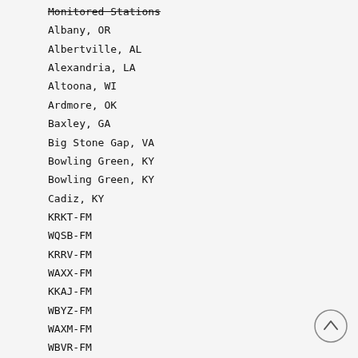Monitored Stations
Albany, OR
Albertville, AL
Alexandria, LA
Altoona, WI
Ardmore, OK
Baxley, GA
Big Stone Gap, VA
Bowling Green, KY
Bowling Green, KY
Cadiz, KY
KRKT-FM
WQSB-FM
KRRV-FM
WAXX-FM
KKAJ-FM
WBYZ-FM
WAXM-FM
WBVR-FM
WGGC-FM
WKDZ-FM
Cape Girardeau, MO KEZS-FM
Carterville, IL
WOOZ-FM
Charleston, WV